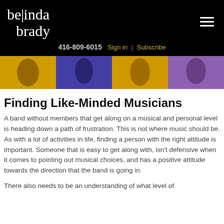belinda brady | 416-809-6015 Sign in | Subscribe
[Figure (photo): Colorful banner image showing musicians playing guitar and saxophone against bright yellow, purple, and pink backgrounds]
Finding Like-Minded Musicians
A band without members that get along on a musical and personal level is heading down a path of frustration. This is not where music should be. As with a lot of activities in life, finding a person with the right attitude is important. Someone that is easy to get along with, isn't defensive when it comes to pointing out musical choices, and has a positive attitude towards the direction that the band is going in.
There also needs to be an understanding of what level of